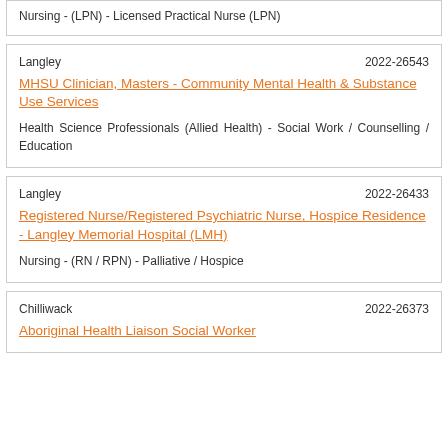Nursing - (LPN) - Licensed Practical Nurse (LPN)
Langley   2022-26543
MHSU Clinician, Masters - Community Mental Health & Substance Use Services
Health Science Professionals (Allied Health) - Social Work / Counselling / Education
Langley   2022-26433
Registered Nurse/Registered Psychiatric Nurse, Hospice Residence - Langley Memorial Hospital (LMH)
Nursing - (RN / RPN) - Palliative / Hospice
Chilliwack   2022-26373
Aboriginal Health Liaison Social Worker